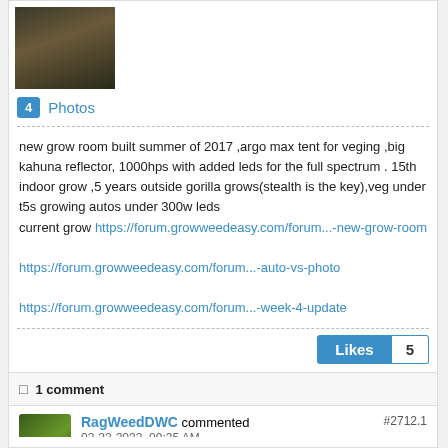[Figure (photo): Small thumbnail photo showing a dark/brown image with a coin or tag, indoor grow room related]
4  Photos
new grow room built summer of 2017 ,argo max tent for veging ,big kahuna reflector, 1000hps with added leds for the full spectrum . 15th indoor grow ,5 years outside gorilla grows(stealth is the key),veg under t5s growing autos under 300w leds
current grow https://forum.growweedeasy.com/forum...-new-grow-room
https://forum.growweedeasy.com/forum...-auto-vs-photo
https://forum.growweedeasy.com/forum...-week-4-update
Likes  5
1 comment
RagWeedDWC commented
02-22-2022, 09:35 AM
#2712.1
Looking good Jar Head (Takes on to know one :-))